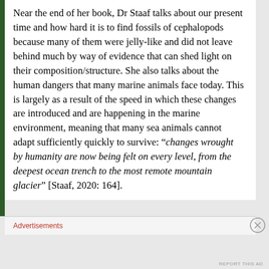Near the end of her book, Dr Staaf talks about our present time and how hard it is to find fossils of cephalopods because many of them were jelly-like and did not leave behind much by way of evidence that can shed light on their composition/structure. She also talks about the human dangers that many marine animals face today. This is largely as a result of the speed in which these changes are introduced and are happening in the marine environment, meaning that many sea animals cannot adapt sufficiently quickly to survive: “changes wrought by humanity are now being felt on every level, from the deepest ocean trench to the most remote mountain glacier” [Staaf, 2020: 164].
Advertisements